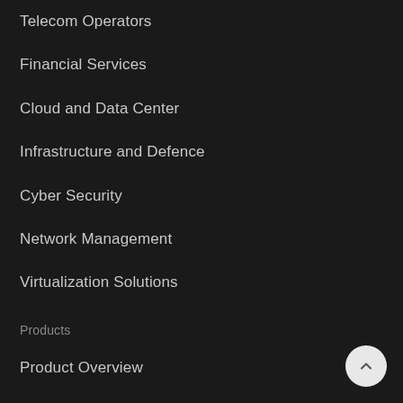Telecom Operators
Financial Services
Cloud and Data Center
Infrastructure and Defence
Cyber Security
Network Management
Virtualization Solutions
Products
Product Overview
Link-Capture Software
Link-Capture Software Intel
Link-Inline Software